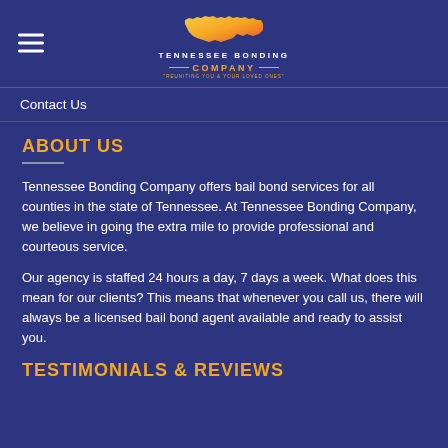[Figure (logo): Tennessee Bonding Company logo with Tennessee state shape in orange/yellow gradient, company name, and tagline 'Reuniting You & Your Loved Ones']
Contact Us
ABOUT US
Tennessee Bonding Company offers bail bond services for all counties in the state of Tennessee. At Tennessee Bonding Company, we believe in going the extra mile to provide professional and courteous service.
Our agency is staffed 24 hours a day, 7 days a week. What does this mean for our clients? This means that whenever you call us, there will always be a licensed bail bond agent available and ready to assist you.
TESTIMONIALS & REVIEWS